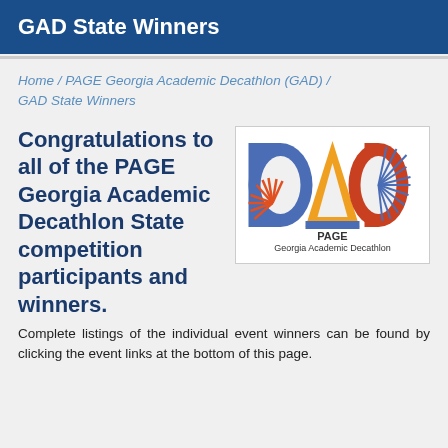GAD State Winners
Home / PAGE Georgia Academic Decathlon (GAD) / GAD State Winners
Congratulations to all of the PAGE Georgia Academic Decathlon State competition participants and winners.
[Figure (logo): PAGE Georgia Academic Decathlon logo with blue, orange, and red stylized letters G, A, D and text 'PAGE Georgia Academic Decathlon']
Complete listings of the individual event winners can be found by clicking the event links at the bottom of this page.